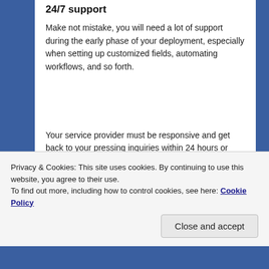24/7 support
Make not mistake, you will need a lot of support during the early phase of your deployment, especially when setting up customized fields, automating workflows, and so forth.
Your service provider must be responsive and get back to your pressing inquiries within 24 hours or less. Ideally, you should also have access to phone support, even if that comes at a charge per incident.
Privacy & Cookies: This site uses cookies. By continuing to use this website, you agree to their use.
To find out more, including how to control cookies, see here: Cookie Policy
Close and accept